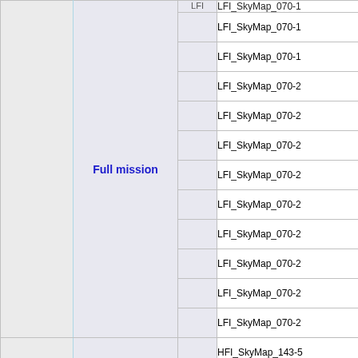|  | Mission | LFI | Name |
| --- | --- | --- | --- |
|  | Full mission |  | LFI_SkyMap_070-1... |
|  |  |  | LFI_SkyMap_070-1... |
|  |  |  | LFI_SkyMap_070-1... |
|  |  |  | LFI_SkyMap_070-2... |
|  |  |  | LFI_SkyMap_070-2... |
|  |  |  | LFI_SkyMap_070-2... |
|  |  |  | LFI_SkyMap_070-2... |
|  |  |  | LFI_SkyMap_070-2... |
|  |  |  | LFI_SkyMap_070-2... |
|  |  |  | LFI_SkyMap_070-2... |
|  |  |  | LFI_SkyMap_070-2... |
|  |  |  | HFI_SkyMap_143-5... |
|  |  |  | HFI_SkyMap_143-6... |
|  |  |  | HFI_SkyMap_143-7... |
|  |  |  | HFI_SkyMap_217-1... |
|  |  |  | HFI_SkyMap_217-... |